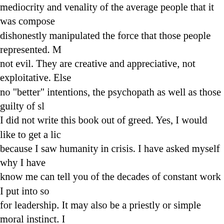mediocrity and venality of the average people that it was composed of, or those who dishonestly manipulated the force that those people represented. Most people are not evil. They are creative and appreciative, not exploitative. Else there would be no "better" intentions, the psychopath as well as those guilty of sloppy thinking. I did not write this book out of greed. Yes, I would like to get a living from it, but because I saw humanity in crisis. I have asked myself why I have done this. Those who know me can tell you of the decades of constant work I put into something that makes for leadership. It may also be a priestly or simple moral instinct. I have seen others path. Most were young and gave up after a few years. It is difficult. When I talk to marine biology, I question them. It seems that how this problem might be solved is fundamentals of life, which are to be discovered in the simple forms of life. This is an instinctive path that I followed.
There is no doubt that greed is one thing that has been a great builder of the United States, but it has come at a terrible human cost. If one is honest they will say that suffering was by expendables, exploited like animals, ultimately destroying the potentials I write of here. One only has to be honest to say that the suffering is by the one doing it. The victims of greed know full well that their worth is only as much as profit for their task master. OK, maybe that is how it has had to be, but not for the future. That is not our aspirations. The people I envision in the future will not be so. Greed might be compared to modern nuclear power. It is a great power, but has great drawbacks and great dangers. It would be better if it can be replaced by something like that. It is a great power, but there are replacements like thorium with far fewer drawbacks. Traditional nuclear power is a primitive, transitional power. Greed is a motivator that can be replaced and I think will it have to be for humanity to survive. innumerable examples in history and currently. Greed is particul